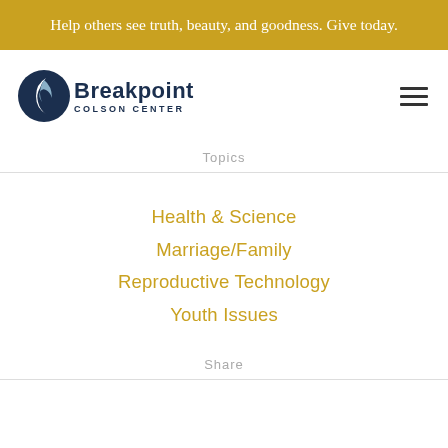Help others see truth, beauty, and goodness. Give today.
[Figure (logo): Breakpoint Colson Center logo with circular icon and text]
Topics
Health & Science
Marriage/Family
Reproductive Technology
Youth Issues
Share